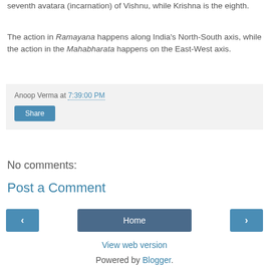seventh avatara (incarnation) of Vishnu, while Krishna is the eighth.
The action in Ramayana happens along India's North-South axis, while the action in the Mahabharata happens on the East-West axis.
Anoop Verma at 7:39:00 PM
Share
No comments:
Post a Comment
‹  Home  ›
View web version
Powered by Blogger.